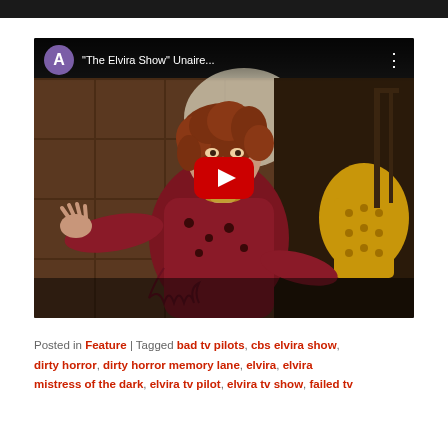[Figure (screenshot): YouTube video embed showing 'The Elvira Show' Unaire... with a purple avatar circle with letter A, a woman in a red outfit gesturing, and a large red YouTube play button in the center]
Posted in Feature | Tagged bad tv pilots, cbs elvira show, dirty horror, dirty horror memory lane, elvira, elvira mistress of the dark, elvira tv pilot, elvira tv show, failed tv